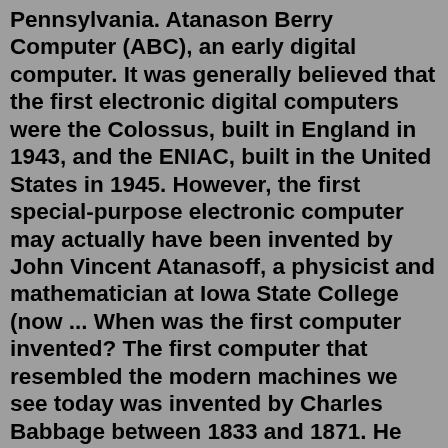Pennsylvania. Atanason Berry Computer (ABC), an early digital computer. It was generally believed that the first electronic digital computers were the Colossus, built in England in 1943, and the ENIAC, built in the United States in 1945. However, the first special-purpose electronic computer may actually have been invented by John Vincent Atanasoff, a physicist and mathematician at Iowa State College (now ... When was the first computer invented? The first computer that resembled the modern machines we see today was invented by Charles Babbage between 1833 and 1871. He developed a device, the analytical engine, and worked on it for nearly 40 years. It was a mechanical computer that was powerful enough to perform simple calculations.In 1938, German civil engineer, Konrad Zuse built world's first freely programmable binary driven mechanical computer what he called Z1. Konrad Zuse has considered the inventor of the modern computer. It was programmable via punched tape or punched tape reader. Z1 original name was "V1" for